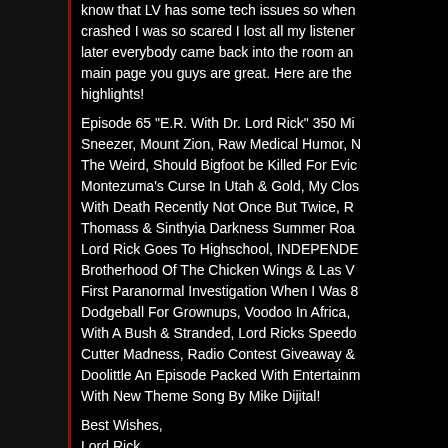know that LV has some tech issues so when crashed I was so scared I lost all my listener later everybody came back into the room an main page you guys are great. Here are the highlights!
Episode 65 "E.R. With Dr. Lord Rick" 350 Mi Sneezer, Mount Zion, Raw Medical Humor, N The Weird, Should Bigfoot be Killed For Evid Montezuma's Curse In Utah & Gold, My Clos With Death Recently Not Once But Twice, R Thomass & Sinthyia Darkness Summer Roa Lord Rick Goes To Highschool, INDEPENDE Brotherhood Of The Chicken Wings & Las V First Paranormal Investigation When I Was 8 Dodgeball For Grownups, Voodoo In Africa, With A Bush & Stranded, Lord Ricks Speedo Cutter Madness, Radio Contest Giveaway & Doolittle An Episode Packed With Entertainm With New Theme Song By Mike Dijital!
Best Wishes,
Lord Rick
http://www.livevideo.com/liveshow/AngeOT